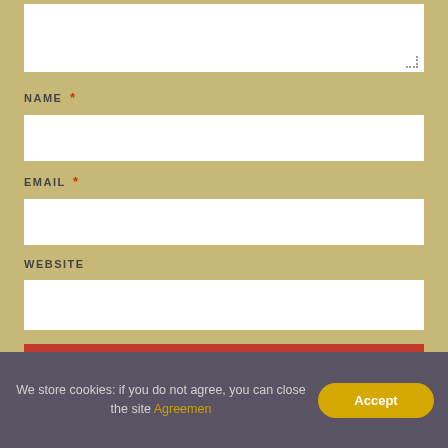[Figure (screenshot): Comment form section showing a textarea at the top (partially visible), followed by NAME, EMAIL, WEBSITE input fields with required asterisks on NAME and EMAIL, a red POST COMMENT button, and a cookie consent bar at the bottom.]
NAME *
EMAIL *
WEBSITE
POST COMMENT
We store cookies: if you do not agree, you can close the site Agreemen
Accept